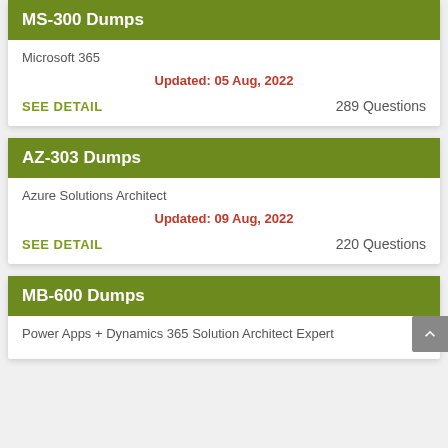MS-300 Dumps
Microsoft 365
Updated: 05 Aug, 2022
SEE DETAIL                  289 Questions
AZ-303 Dumps
Azure Solutions Architect
Updated: 09 Aug, 2022
SEE DETAIL                  220 Questions
MB-600 Dumps
Power Apps + Dynamics 365 Solution Architect Expert